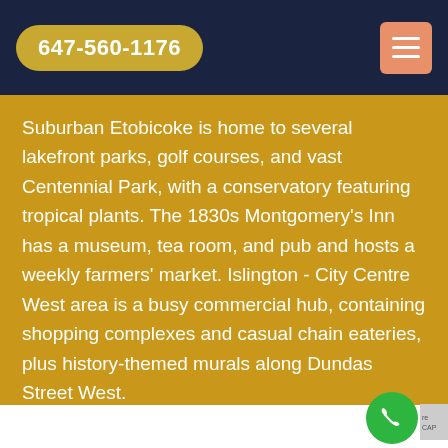647-560-1176
Suburban Etobicoke is home to several lakefront parks, golf courses, and vast Centennial Park, with a conservatory featuring tropical plants. The 1830s Montgomery's Inn has a museum, tea room, and pub and hosts a weekly farmers' market. Islington - City Centre West area is a busy commercial hub, containing shopping complexes and casual chain eateries, plus history-themed murals along Dundas Street West.